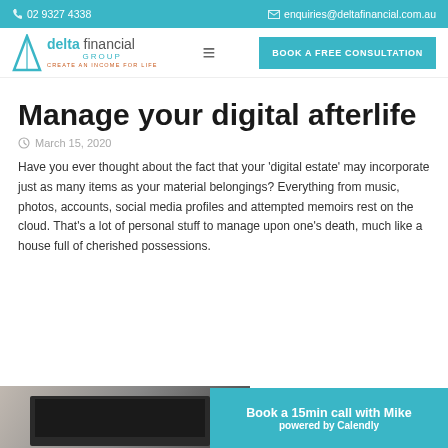02 9327 4338 | enquiries@deltafinancial.com.au
[Figure (logo): Delta Financial Group logo with triangle icon and tagline CREATE AN INCOME FOR LIFE]
Manage your digital afterlife
March 15, 2020
Have you ever thought about the fact that your 'digital estate' may incorporate just as many items as your material belongings? Everything from music, photos, accounts, social media profiles and attempted memoirs rest on the cloud. That's a lot of personal stuff to manage upon one's death, much like a house full of cherished possessions.
[Figure (screenshot): Book a 15min call with Mike powered by Calendly button overlay on a photo of a laptop]
Book a 15min call with Mike
powered by Calendly